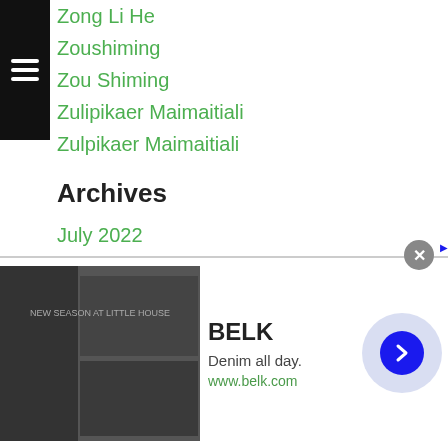Zong Li He
Zoushiming
Zou Shiming
Zulipikaer Maimaitiali
Zulpikaer Maimaitiali
Archives
July 2022
June 2022
May 2022
April 2022
March 2022
February 2022
January 2022
December 2021
November 2021
[Figure (screenshot): Advertisement overlay from BELK: Denim all day. www.belk.com with navigation arrow and close button. Infolinks banner partially overlapping.]